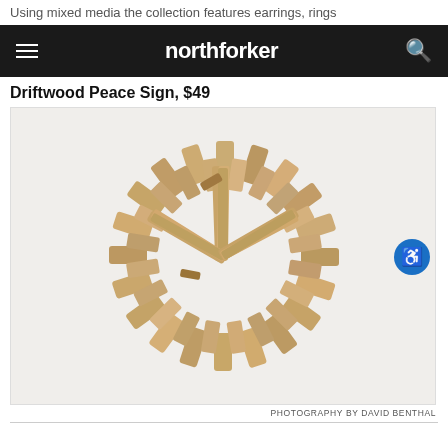Using mixed media the collection features earrings, rings
northforker
Driftwood Peace Sign, $49
[Figure (photo): A peace sign made from driftwood pieces arranged in a circle with internal lines on a white background]
PHOTOGRAPHY BY DAVID BENTHAL